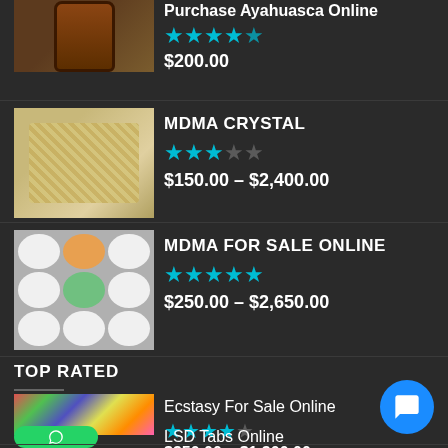[Figure (photo): Partially visible product listing: Purchase Ayahuasca Online, jar image, 4.5 stars, $200.00]
Purchase Ayahuasca Online
$200.00
[Figure (photo): MDMA crystal product image]
MDMA CRYSTAL
$150.00 – $2,400.00
[Figure (photo): MDMA pills product image]
MDMA FOR SALE ONLINE
$250.00 – $2,650.00
TOP RATED
[Figure (photo): Ecstasy colorful pills product image with WhatsApp icon overlay]
Ecstasy For Sale Online
$350.00 – $1,300.00
LSD Tabs Online